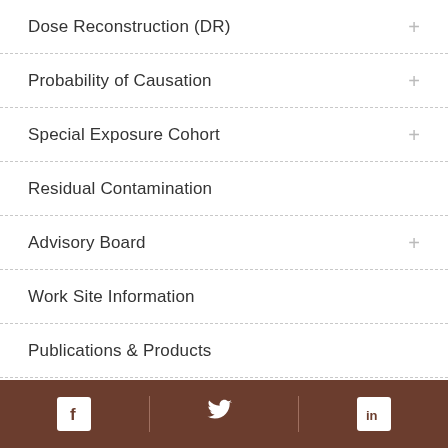Dose Reconstruction (DR)
Probability of Causation
Special Exposure Cohort
Residual Contamination
Advisory Board
Work Site Information
Publications & Products
Program Reviews
[Figure (other): Footer bar with Facebook, Twitter, and LinkedIn social media icons on a brown background]